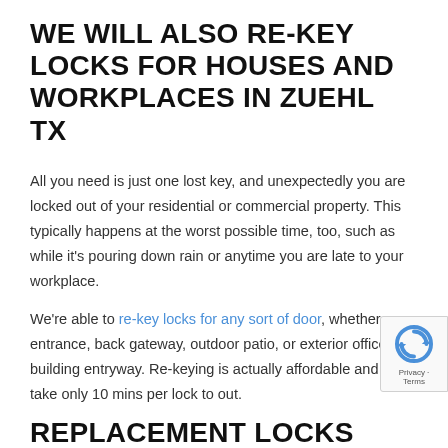WE WILL ALSO RE-KEY LOCKS FOR HOUSES AND WORKPLACES IN ZUEHL TX
All you need is just one lost key, and unexpectedly you are locked out of your residential or commercial property. This typically happens at the worst possible time, too, such as while it's pouring down rain or anytime you are late to your workplace.
We're able to re-key locks for any sort of door, whether entrance, back gateway, outdoor patio, or exterior office building entryway. Re-keying is actually affordable and can take only 10 mins per lock to out.
REPLACEMENT LOCKS FOR